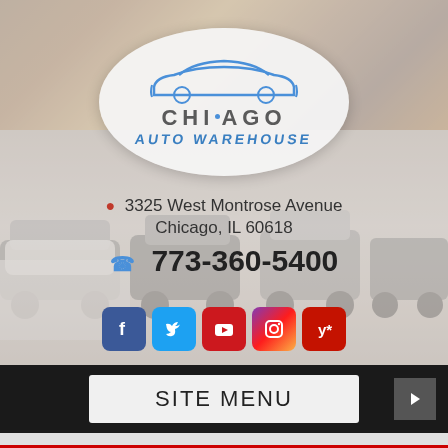[Figure (photo): Chicago Auto Warehouse dealership interior background photo showing rows of cars in a warehouse]
[Figure (logo): Chicago Auto Warehouse oval logo with blue car silhouette outline, 'CHICAGO' text in gray, and 'AUTO WAREHOUSE' in blue italic letters]
3325 West Montrose Avenue
Chicago, IL 60618
773-360-5400
[Figure (infographic): Row of social media icons: Facebook (blue), Twitter (light blue), YouTube (red), Instagram (gradient), Yelp (red)]
SITE MENU